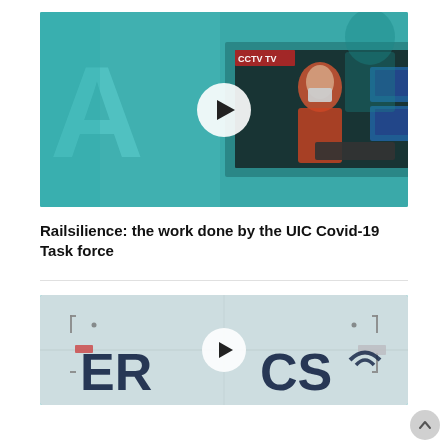[Figure (screenshot): Video thumbnail showing a person in a mask at a security/monitoring station, teal-tinted background, with a play button overlay. CCTV TV logo visible. UIC Covid-19 related video.]
Railsilience: the work done by the UIC Covid-19 Task force
[Figure (screenshot): Second video thumbnail with teal/grey background showing partial text 'ER...CS' (FRMCS or similar), with a play button overlay.]